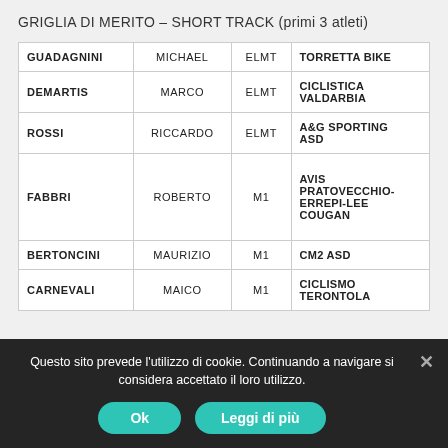GRIGLIA DI MERITO – SHORT TRACK (primi 3 atleti)
|  |  |  |  |
| --- | --- | --- | --- |
| GUADAGNINI | MICHAEL | ELMT | TORRETTA BIKE |
| DEMARTIS | MARCO | ELMT | CICLISTICA VALDARBIA |
| ROSSI | RICCARDO | ELMT | A&G SPORTING ASD |
| FABBRI | ROBERTO | M1 | AVIS PRATOVECCHIO-ERREPI-LEE COUGAN |
| BERTONCINI | MAURIZIO | M1 | CM2 ASD |
| CARNEVALI | MAICO | M1 | CICLISMO TERONTOLA |
Questo sito prevede l'utilizzo di cookie. Continuando a navigare si considera accettato il loro utilizzo.